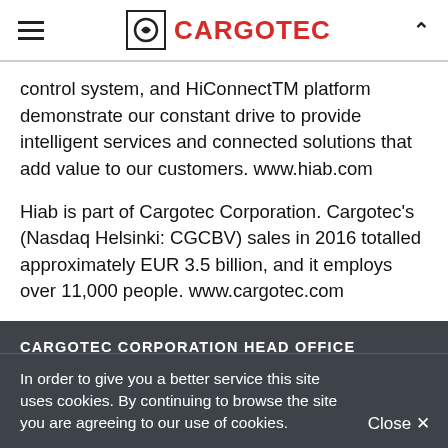Cargotec
control system, and HiConnectTM platform demonstrate our constant drive to provide intelligent services and connected solutions that add value to our customers. www.hiab.com
Hiab is part of Cargotec Corporation. Cargotec's (Nasdaq Helsinki: CGCBV) sales in 2016 totalled approximately EUR 3.5 billion, and it employs over 11,000 people. www.cargotec.com
CARGOTEC CORPORATION HEAD OFFICE
Porkkalankatu 5
In order to give you a better service this site uses cookies. By continuing to browse the site you are agreeing to our use of cookies.